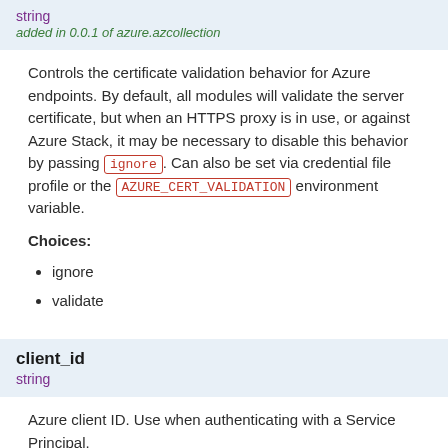string
added in 0.0.1 of azure.azcollection
Controls the certificate validation behavior for Azure endpoints. By default, all modules will validate the server certificate, but when an HTTPS proxy is in use, or against Azure Stack, it may be necessary to disable this behavior by passing ignore. Can also be set via credential file profile or the AZURE_CERT_VALIDATION environment variable.
Choices:
ignore
validate
client_id
string
Azure client ID. Use when authenticating with a Service Principal.
cloud_environment
string